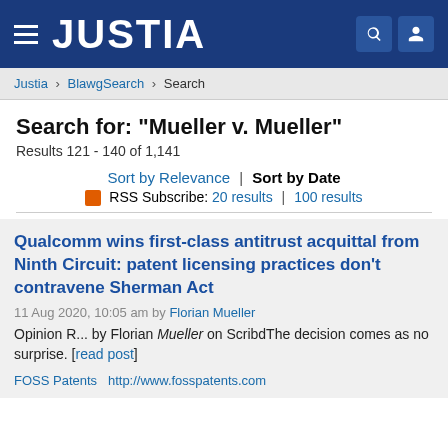JUSTIA
Justia > BlawgSearch > Search
Search for: "Mueller v. Mueller"
Results 121 - 140 of 1,141
Sort by Relevance | Sort by Date
RSS Subscribe: 20 results | 100 results
Qualcomm wins first-class antitrust acquittal from Ninth Circuit: patent licensing practices don't contravene Sherman Act
11 Aug 2020, 10:05 am by Florian Mueller
Opinion R... by Florian Mueller on ScribdThe decision comes as no surprise. [read post]
FOSS Patents  http://www.fosspatents.com